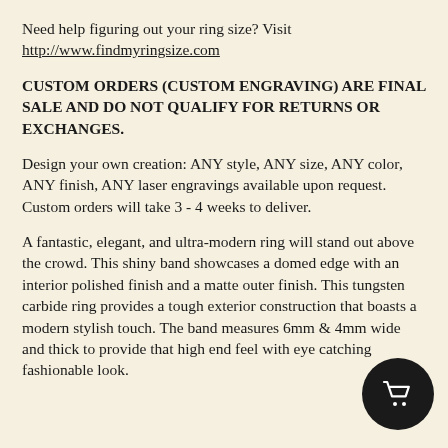Need help figuring out your ring size? Visit http://www.findmyringsize.com
CUSTOM ORDERS (CUSTOM ENGRAVING) ARE FINAL SALE AND DO NOT QUALIFY FOR RETURNS OR EXCHANGES.
Design your own creation: ANY style, ANY size, ANY color, ANY finish, ANY laser engravings available upon request. Custom orders will take 3 - 4 weeks to deliver.
A fantastic, elegant, and ultra-modern ring will stand out above the crowd. This shiny band showcases a domed edge with an interior polished finish and a matte outer finish. This tungsten carbide ring provides a tough exterior construction that boasts a modern stylish touch. The band measures 6mm & 4mm wide and thick to provide that high end feel with eye catching fashionable look.
[Figure (illustration): Black circular shopping cart button icon in the bottom-right corner]